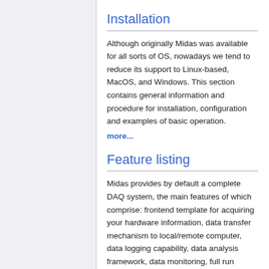Installation
Although originally Midas was available for all sorts of OS, nowadays we tend to reduce its support to Linux-based, MacOS, and Windows. This section contains general information and procedure for installation, configuration and examples of basic operation.
more...
Feature listing
Midas provides by default a complete DAQ system, the main features of which comprise: frontend template for acquiring your hardware information, data transfer mechanism to local/remote computer, data logging capability, data analysis framework, data monitoring, full run